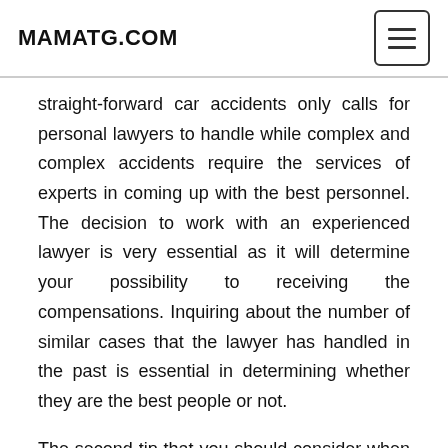MAMATG.COM
straight-forward car accidents only calls for personal lawyers to handle while complex and complex accidents require the services of experts in coming up with the best personnel. The decision to work with an experienced lawyer is very essential as it will determine your possibility to receiving the compensations. Inquiring about the number of similar cases that the lawyer has handled in the past is essential in determining whether they are the best people or not.
The second tip that you should consider when choosing a reliable accident or an injury attorney is asking around for in your local community. Family members, friends, relatives and community leaders